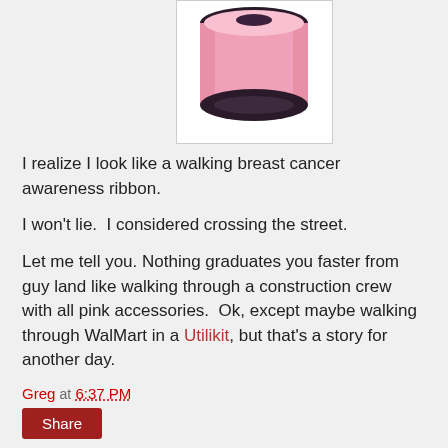[Figure (photo): Pink cylindrical ear gauge/plug product on white background, with dark rim at top and bottom, inside a white bordered frame]
I realize I look like a walking breast cancer awareness ribbon.
I won't lie.  I considered crossing the street.
Let me tell you. Nothing graduates you faster from guy land like walking through a construction crew with all pink accessories.  Ok, except maybe walking through WalMart in a Utilikit, but that's a story for another day.
Greg at 6:37 PM
Share
3 comments:
eddycameron March 10, 2011 at 6:48 PM